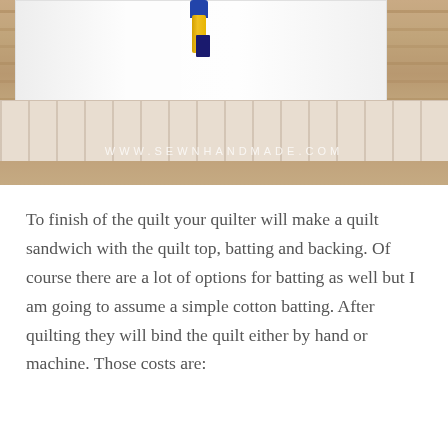[Figure (photo): Photo of a quilt sandwich being assembled on a wooden floor, showing white quilt top, a yellow spray bottle on top, and a patterned fabric backing visible underneath. Watermark reads WWW.SEWNHANDMADE.COM]
To finish of the quilt your quilter will make a quilt sandwich with the quilt top, batting and backing. Of course there are a lot of options for batting as well but I am going to assume a simple cotton batting. After quilting they will bind the quilt either by hand or machine. Those costs are: